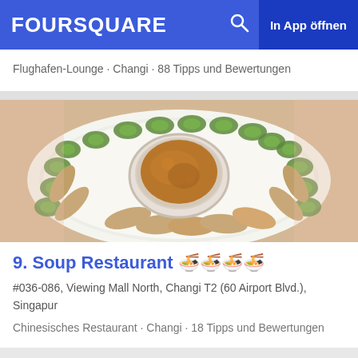FOURSQUARE  In App öffnen
Flughafen-Lounge · Changi · 88 Tipps und Bewertungen
[Figure (photo): A plate of sliced chicken arranged in a circle around a bowl of brown dipping sauce, garnished with cucumber slices on a decorative plate.]
9. Soup Restaurant 🍜🍜🍜🍜
#036-086, Viewing Mall North, Changi T2 (60 Airport Blvd.), Singapur
Chinesisches Restaurant · Changi · 18 Tipps und Bewertungen